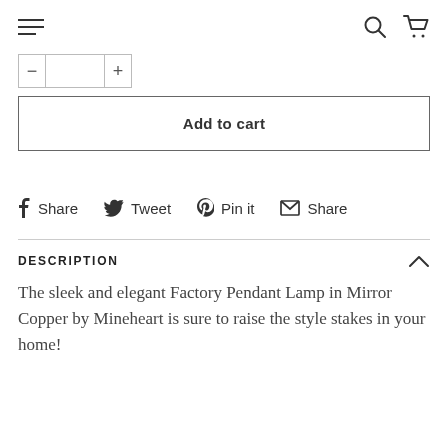Navigation header with hamburger menu, search icon, and cart icon
[Figure (screenshot): Quantity selector with minus button, value field, and plus button]
Add to cart
Share  Tweet  Pin it  Share
DESCRIPTION
The sleek and elegant Factory Pendant Lamp in Mirror Copper by Mineheart is sure to raise the style stakes in your home!